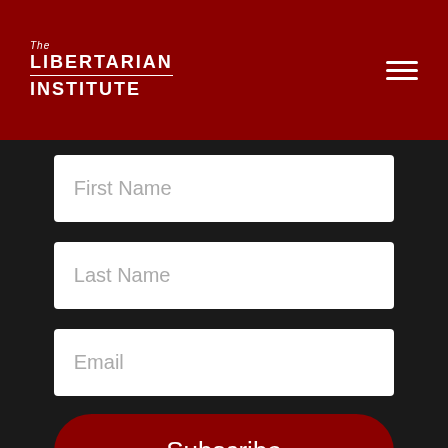The Libertarian Institute
[Figure (screenshot): Form with First Name, Last Name, Email input fields and a Subscribe button on a dark background]
First Name
Last Name
Email
Subscribe